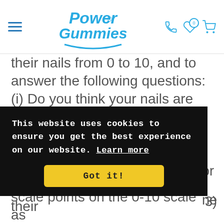Power Gummies (logo and navigation header)
their nails from 0 to 10, and to answer the following questions: (i) Do you think your nails are stronger? (ii) Do you think your nails are growing faster? The majority of female participants (90%) agreed that the use of Power Gummies had improved their
This website uses cookies to ensure you get the best experience on our website. Learn more
Got it!
scale points on the 0-10 scale as